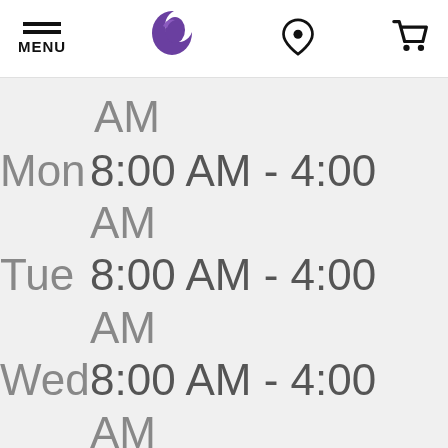MENU | Taco Bell logo | Location icon | Cart icon
| Day | Hours |
| --- | --- |
|  | AM |
| Mon | 8:00 AM - 4:00 AM |
| Tue | 8:00 AM - 4:00 AM |
| Wed | 8:00 AM - 4:00 AM |
| Thu | 8:00 AM - 4:00 |